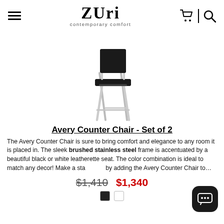Zuri contemporary comfort
[Figure (photo): Product photo of the Avery Counter Chair with brushed stainless steel frame and black leatherette seat and back, shown from a slight angle.]
Avery Counter Chair - Set of 2
The Avery Counter Chair is sure to bring comfort and elegance to any room it is placed in. The sleek brushed stainless steel frame is accentuated by a beautiful black or white leatherette seat. The color combination is ideal to match any decor! Make a sta... by adding the Avery Counter Chair to…
$1,410  $1,340